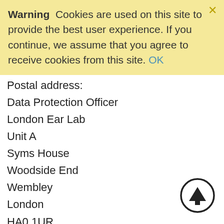Warning  Cookies are used on this site to provide the best user experience. If you continue, we assume that you agree to receive cookies from this site. OK
Postal address:
Data Protection Officer
London Ear Lab
Unit A
Syms House
Woodside End
Wembley
London
HA0 1UR
Email: info@londonearlab.com
You can also make a request by telephone on 0203 657 7030.
Requests will be completed within one calendar month of receipt unless they are deemed complex or